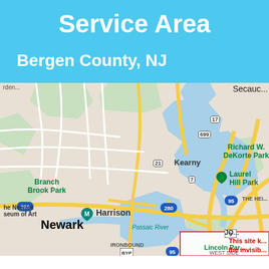Service Area
Bergen County, NJ
[Figure (map): Google Maps screenshot showing Bergen County, NJ area including Newark, Harrison, Kearny, Richard W. DeKorte Park, Laurel Hill Park, Branch Brook Park, with major roads I-95, I-280, Route 17, Route 7, Route 9, Route 21, Route 699 visible. Passaic River shown. Secaucus visible top right. Red text overlay reads 'This site k... the invisib...']